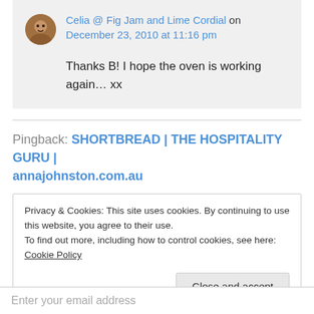Celia @ Fig Jam and Lime Cordial on December 23, 2010 at 11:16 pm
Thanks B! I hope the oven is working again… xx
Pingback: SHORTBREAD | THE HOSPITALITY GURU | annajohnston.com.au
Privacy & Cookies: This site uses cookies. By continuing to use this website, you agree to their use. To find out more, including how to control cookies, see here: Cookie Policy
Close and accept
Enter your email address